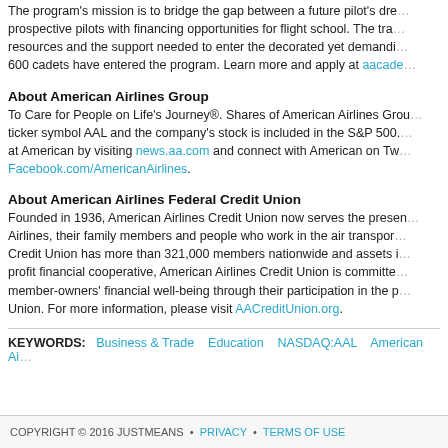The program's mission is to bridge the gap between a future pilot's dream and reality by connecting prospective pilots with financing opportunities for flight school. The training program provides resources and the support needed to enter the decorated yet demanding field of aviation. More than 600 cadets have entered the program. Learn more and apply at aacadets.com.
About American Airlines Group
To Care for People on Life's Journey®. Shares of American Airlines Group trade on Nasdaq under the ticker symbol AAL and the company's stock is included in the S&P 500. Learn more about what's happening at American by visiting news.aa.com and connect with American on Twitter @AmericanAir and Facebook.com/AmericanAirlines.
About American Airlines Federal Credit Union
Founded in 1936, American Airlines Credit Union now serves the present and past employees of American Airlines, their family members and people who work in the air transport industry. American Airlines Credit Union has more than 321,000 members nationwide and assets in excess of $6 billion. As a not-for-profit financial cooperative, American Airlines Credit Union is committed to improving each of its member-owners' financial well-being through their participation in the products and services of the Credit Union. For more information, please visit AACreditUnion.org.
KEYWORDS: Business & Trade   Education   NASDAQ:AAL   American Ai...
COPYRIGHT © 2016 JUSTMEANS  •  PRIVACY  •  TERMS OF USE